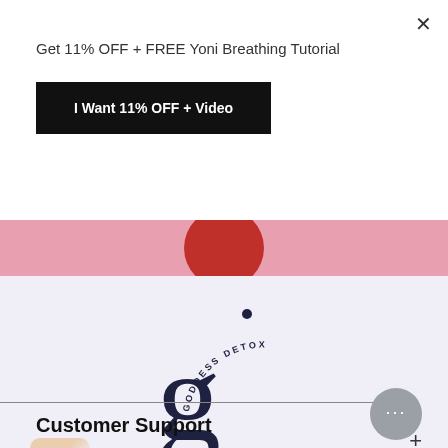×
Get 11% OFF + FREE Yoni Breathing Tutorial
I Want 11% OFF + Video
[Figure (other): Pink band with red circle partially visible at top]
[Figure (logo): Goddess Detox logo: large serif lowercase g with curved text 'GODDESS DETOX' arcing around top right]
Customer Support
[Figure (other): Gray circular chat bubble button with ellipsis (···) icon, and a plus (+) icon below it]
[Figure (other): Partial image visible at bottom left, orange/skin tones]